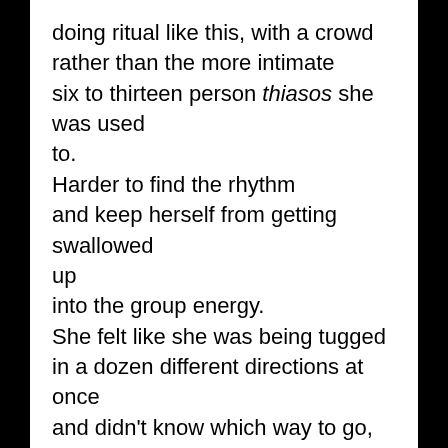doing ritual like this, with a crowd rather than the more intimate six to thirteen person thiasos she was used to.
Harder to find the rhythm and keep herself from getting swallowed up into the group energy.
She felt like she was being tugged in a dozen different directions at once and didn't know which way to go, or which version of herself to be.
And yet, when she stopped resisting, stopped trying to make the experience like what was familiar to her,